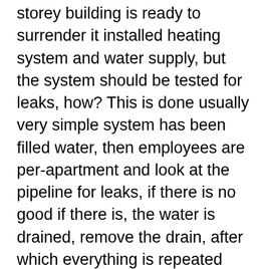storey building is ready to surrender it installed heating system and water supply, but the system should be tested for leaks, how? This is done usually very simple system has been filled water, then employees are per-apartment and look at the pipeline for leaks, if there is no good if there is, the water is drained, remove the drain, after which everything is repeated from the beginning. But there is a way by which it is possible avoided by testing the first three actions are performed during normal testing. This is a use for these purposes of the equipment to test for leaks which includes a set of rubber plugs for pipes various cross-sectional diameter, gauge, hose, mechanical pump or a cylinder with compressed air. Company employee arrives at a place with a set of equipment which fits in a handy carrying case, further equipment is mounted in system (more on that in another article) and actually injected into the heating system or